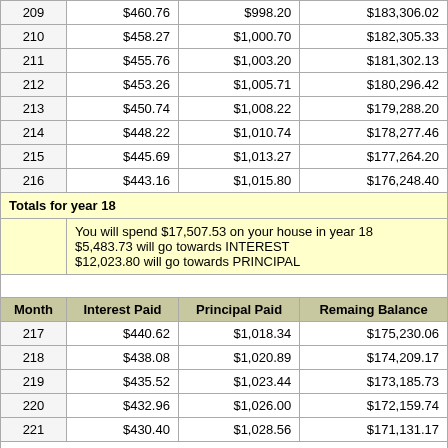| Month | Interest Paid | Principal Paid | Remaing Balance |
| --- | --- | --- | --- |
| 209 | $460.76 | $998.20 | $183,306.02 |
| 210 | $458.27 | $1,000.70 | $182,305.33 |
| 211 | $455.76 | $1,003.20 | $181,302.13 |
| 212 | $453.26 | $1,005.71 | $180,296.42 |
| 213 | $450.74 | $1,008.22 | $179,288.20 |
| 214 | $448.22 | $1,010.74 | $178,277.46 |
| 215 | $445.69 | $1,013.27 | $177,264.20 |
| 216 | $443.16 | $1,015.80 | $176,248.40 |
Totals for year 18
You will spend $17,507.53 on your house in year 18
$5,483.73 will go towards INTEREST
$12,023.80 will go towards PRINCIPAL
| Month | Interest Paid | Principal Paid | Remaing Balance |
| --- | --- | --- | --- |
| 217 | $440.62 | $1,018.34 | $175,230.06 |
| 218 | $438.08 | $1,020.89 | $174,209.17 |
| 219 | $435.52 | $1,023.44 | $173,185.73 |
| 220 | $432.96 | $1,026.00 | $172,159.74 |
| 221 | $430.40 | $1,028.56 | $171,131.17 |